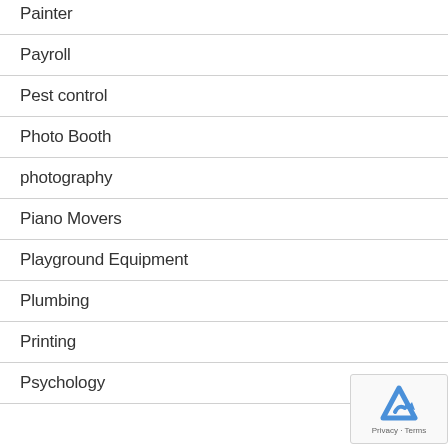Painter
Payroll
Pest control
Photo Booth
photography
Piano Movers
Playground Equipment
Plumbing
Printing
Psychology